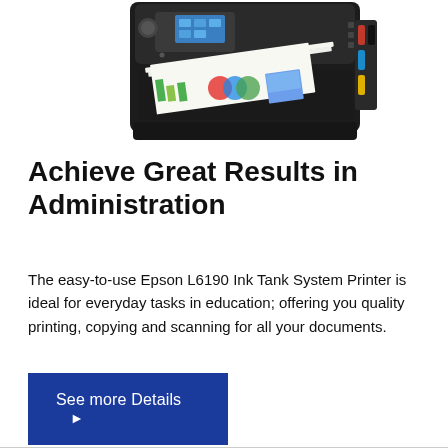[Figure (photo): Epson L6190 Ink Tank System Printer shown from front-top angle, black body with control panel display and printed pages visible in output tray]
Achieve Great Results in Administration
The easy-to-use Epson L6190 Ink Tank System Printer is ideal for everyday tasks in education; offering you quality printing, copying and scanning for all your documents.
See more Details ▶